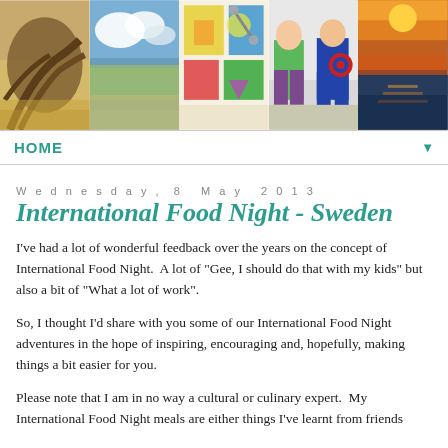[Figure (photo): Five horizontal photos: driftwood/beach tree roots, ocean/beach with clouds, colorful children's artwork with scissors, two kids in superhero costumes (Hulk and Captain America), sunset over ocean]
HOME
Wednesday, 8 May 2013
International Food Night - Sweden
I've had a lot of wonderful feedback over the years on the concept of International Food Night.  A lot of "Gee, I should do that with my kids" but also a bit of "What a lot of work".
So, I thought I'd share with you some of our International Food Night adventures in the hope of inspiring, encouraging and, hopefully, making things a bit easier for you.
Please note that I am in no way a cultural or culinary expert.  My International Food Night meals are either things I've learnt from friends